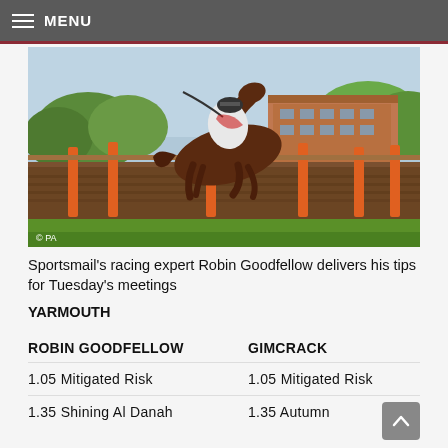MENU
[Figure (photo): A jockey on a brown horse jumping over a hedge hurdle at a horse racing event. Orange fence posts visible, green trees and brick building in background. © PA watermark.]
Sportsmail's racing expert Robin Goodfellow delivers his tips for Tuesday's meetings
YARMOUTH
| ROBIN GOODFELLOW | GIMCRACK |
| --- | --- |
| 1.05 Mitigated Risk | 1.05 Mitigated Risk |
| 1.35 Shining Al Danah | 1.35 Autumn |
[Figure (other): Scroll to top button (up arrow icon)]